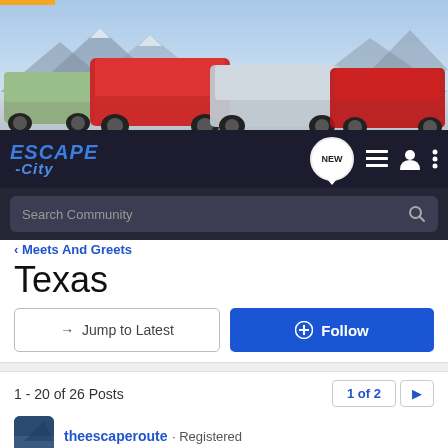[Figure (photo): Ford Escape City website header showing multiple generations of Ford Escape/Kuga SUVs lined up in a desert/mountain landscape. Orange bar accent at top left.]
ESCAPE -City  NEW [icons]
Search Community
< Meets And Greets
Texas
→ Jump to Latest
+ Follow
1 - 20 of 26 Posts
1 of 2 ▶
theescaperoute · Registered